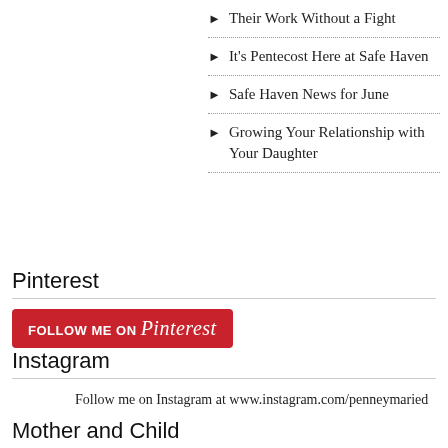Their Work Without a Fight
It's Pentecost Here at Safe Haven
Safe Haven News for June
Growing Your Relationship with Your Daughter
Pinterest
[Figure (logo): Follow me on Pinterest button — red rounded rectangle with white text 'FOLLOW ME ON Pinterest' in script]
Instagram
Follow me on Instagram at www.instagram.com/penneymaried
Mother and Child